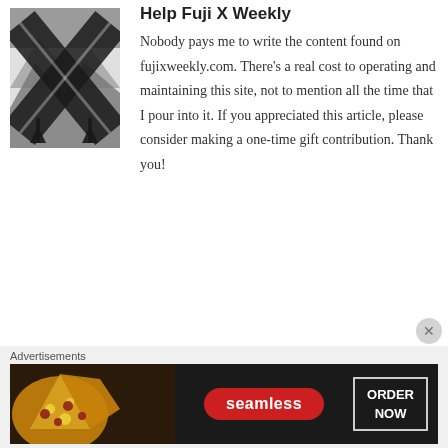[Figure (logo): Fuji X Weekly logo — stylized X shape made from mountain landscape photos in black and white, with upward arrows]
Help Fuji X Weekly
Nobody pays me to write the content found on fujixweekly.com. There's a real cost to operating and maintaining this site, not to mention all the time that I pour into it. If you appreciated this article, please consider making a one-time gift contribution. Thank you!
Advertisements
[Figure (screenshot): Seamless food delivery advertisement banner showing pizza slices on dark background with Seamless logo and ORDER NOW button]